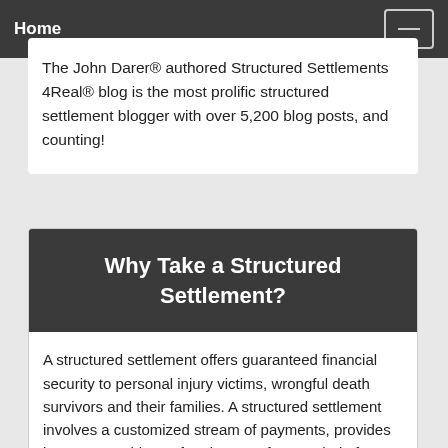Home
The John Darer® authored Structured Settlements 4Real® blog is the most prolific structured settlement blogger with over 5,200 blog posts, and counting!
Why Take a Structured Settlement?
A structured settlement offers guaranteed financial security to personal injury victims, wrongful death survivors and their families. A structured settlement involves a customized stream of payments, provides long-term stable tax-free income, for a period of years or a lifetime. Unlike other income annuities, a